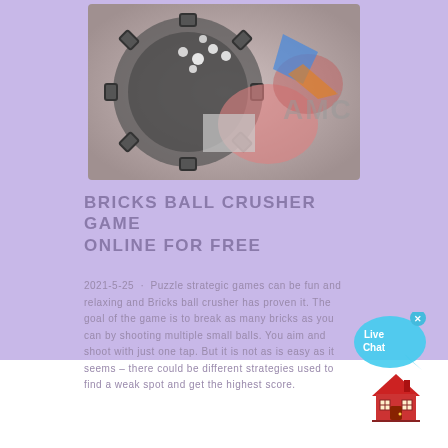[Figure (screenshot): Screenshot of a pinball/arcade game with colorful elements, showing AMC logo watermark overlay]
BRICKS BALL CRUSHER GAME ONLINE FOR FREE
2021-5-25 · Puzzle strategic games can be fun and relaxing and Bricks ball crusher has proven it. The goal of the game is to break as many bricks as you can by shooting multiple small balls. You aim and shoot with just one tap. But it is not as is easy as it seems – there could be different strategies used to find a weak spot and get the highest score.
[Figure (illustration): Live Chat speech bubble widget with cyan/blue color and close button]
[Figure (illustration): House/home icon emoji in red and orange colors]